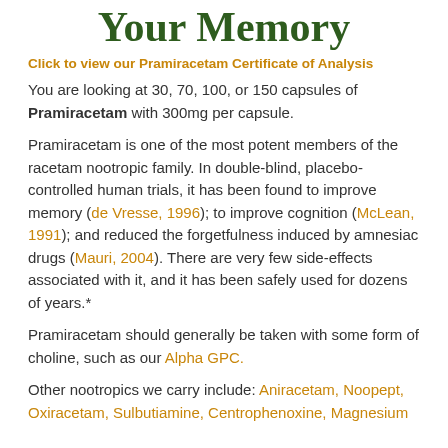Your Memory
Click to view our Pramiracetam Certificate of Analysis
You are looking at 30, 70, 100, or 150 capsules of Pramiracetam with 300mg per capsule.
Pramiracetam is one of the most potent members of the racetam nootropic family. In double-blind, placebo-controlled human trials, it has been found to improve memory (de Vresse, 1996); to improve cognition (McLean, 1991); and reduced the forgetfulness induced by amnesiac drugs (Mauri, 2004). There are very few side-effects associated with it, and it has been safely used for dozens of years.*
Pramiracetam should generally be taken with some form of choline, such as our Alpha GPC.
Other nootropics we carry include: Aniracetam, Noopept, Oxiracetam, Sulbutiamine, Centrophenoxine, Magnesium